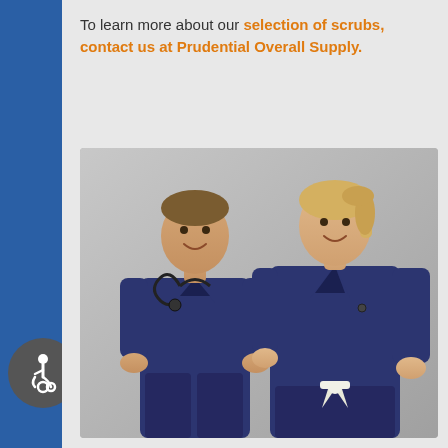To learn more about our selection of scrubs, contact us at Prudential Overall Supply.
[Figure (photo): Two healthcare workers (a man and a woman) wearing navy blue scrubs. The man has a stethoscope around his neck. The woman has a white tie at the waist of her scrubs top.]